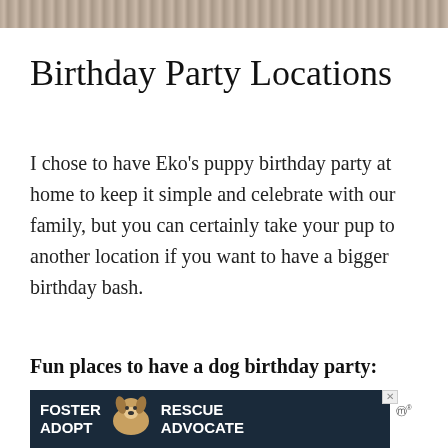[Figure (photo): Textured photo strip at top of page, appears to be an animal fur or nature image]
Birthday Party Locations
I chose to have Eko's puppy birthday party at home to keep it simple and celebrate with our family, but you can certainly take your pup to another location if you want to have a bigger birthday bash.
Fun places to have a dog birthday party:
[Figure (screenshot): Advertisement banner showing a dog (beagle) with text FOSTER ADOPT on the left and RESCUE ADVOCATE on the right, dark blue background]